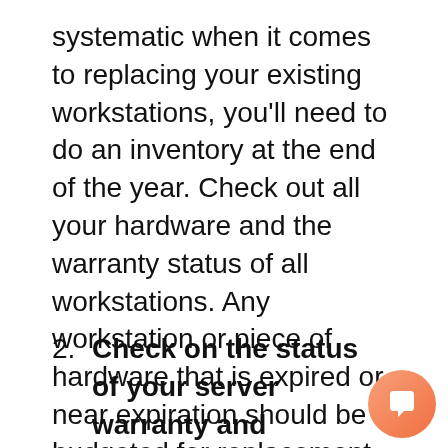systematic when it comes to replacing your existing workstations, you'll need to do an inventory at the end of the year. Check out all your hardware and the warranty status of all workstations. Any workstation or piece of hardware that is expired or near expiration should be budgeted for replacement.
2. Check on the status of your server warranty and licensing.